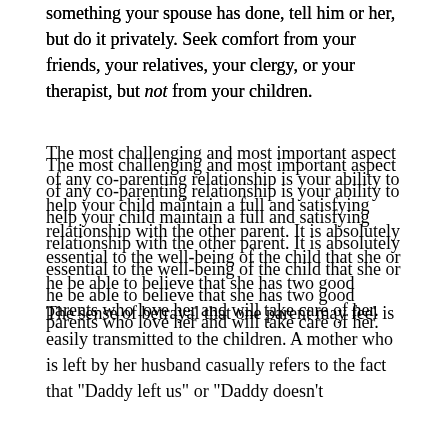something your spouse has done, tell him or her, but do it privately. Seek comfort from your friends, your relatives, your clergy, or your therapist, but not from your children.
The most challenging and most important aspect of any co-parenting relationship is your ability to help your child maintain a full and satisfying relationship with the other parent. It is absolutely essential to the well-being of the child that she or he be able to believe that she has two good parents who love her and will take care of her.
Although you may be very angry at your spouse and regard him or her at times as a terrible person, you must not transmit that message to your child. This can be very difficult, particularly when you feel that you are the victim in the divorce. Victims frequently seek solace from their children and subtly subvert the children into playing a parental role for them. It is a terribly destructive thing to do. Children have a right to be children and to be taken care of by their parents.
The sense of betrayal that one parent may feel is easily transmitted to the children. A mother who is left by her husband casually refers to the fact that "Daddy left us" or "Daddy doesn't